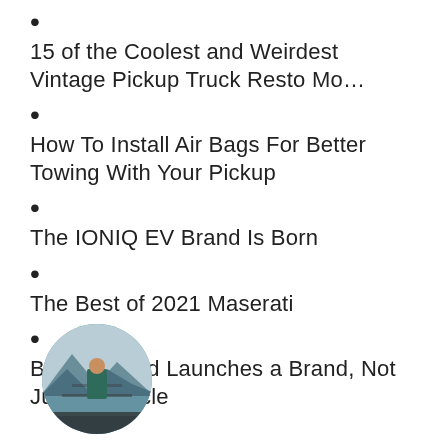15 of the Coolest and Weirdest Vintage Pickup Truck Resto Mo…
How To Install Air Bags For Better Towing With Your Pickup
The IONIQ EV Brand Is Born
The Best of 2021 Maserati
Bronco: Ford Launches a Brand, Not Just a Vehicle
[Figure (photo): Circular avatar photo of a person standing outdoors near water with mountains in the background]